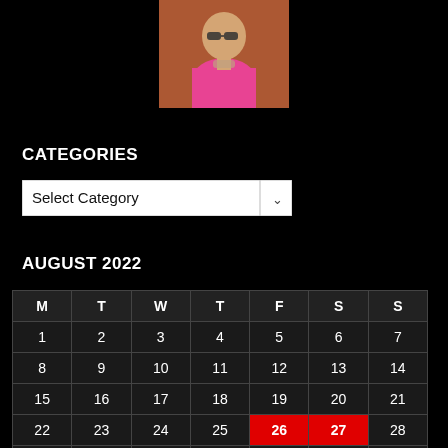[Figure (photo): Profile photo of a man wearing a pink/red shirt and sunglasses, photographed outdoors near a brick wall.]
CATEGORIES
[Figure (screenshot): Dropdown selector UI element labeled 'Select Category' with a chevron/down arrow on the right.]
AUGUST 2022
| M | T | W | T | F | S | S |
| --- | --- | --- | --- | --- | --- | --- |
| 1 | 2 | 3 | 4 | 5 | 6 | 7 |
| 8 | 9 | 10 | 11 | 12 | 13 | 14 |
| 15 | 16 | 17 | 18 | 19 | 20 | 21 |
| 22 | 23 | 24 | 25 | 26 | 27 | 28 |
| 29 | 30 | 31 |  |  |  |  |